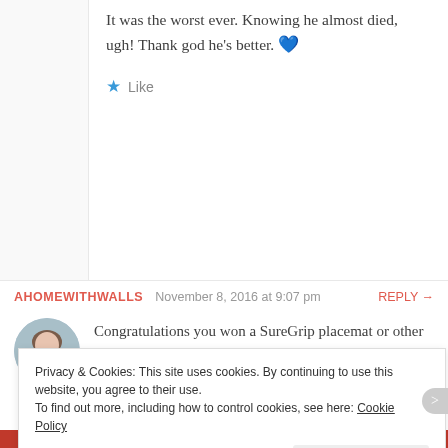It was the worst ever. Knowing he almost died, ugh! Thank god he's better. 💙
★ Like
AHOMEWITHWALLS  November 8, 2016 at 9:07 pm  REPLY →
[Figure (photo): Circular avatar photo of a woman with brown hair]
Congratulations you won a SureGrip placemat or other SurGrip product mentioned here of your choosing and choice of available color. Please email
Privacy & Cookies: This site uses cookies. By continuing to use this website, you agree to their use. To find out more, including how to control cookies, see here: Cookie Policy
Close and accept